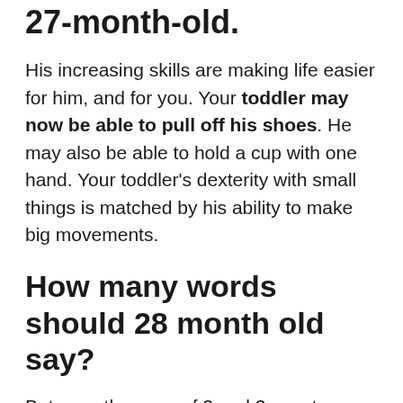27-month-old.
His increasing skills are making life easier for him, and for you. Your toddler may now be able to pull off his shoes. He may also be able to hold a cup with one hand. Your toddler's dexterity with small things is matched by his ability to make big movements.
How many words should 28 month old say?
Between the ages of 2 and 3, most children: Speak in two- and three-word phrases or sentences. Use at least 200 words and as many as 1,000 words.